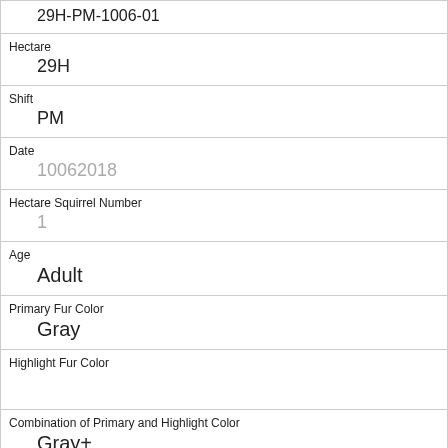| 29H-PM-1006-01 |
| Hectare | 29H |
| Shift | PM |
| Date | 10062018 |
| Hectare Squirrel Number | 1 |
| Age | Adult |
| Primary Fur Color | Gray |
| Highlight Fur Color |  |
| Combination of Primary and Highlight Color | Gray+ |
| Color notes |  |
| Location | Above Ground |